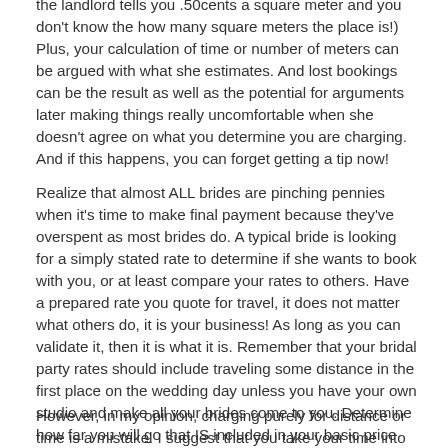the landlord tells you .50cents a square meter and you don't know the how many square meters the place is!) Plus, your calculation of time or number of meters can be argued with what she estimates. And lost bookings can be the result as well as the potential for arguments later making things really uncomfortable when she doesn't agree on what you determine you are charging. And if this happens, you can forget getting a tip now!
Realize that almost ALL brides are pinching pennies when it's time to make final payment because they've overspent as most brides do. A typical bride is looking for a simply stated rate to determine if she wants to book with you, or at least compare your rates to others. Have a prepared rate you quote for travel, it does not matter what others do, it is your business! As long as you can validate it, then it is what it is. Remember that your bridal party rates should include traveling some distance in the first place on the wedding day unless you have your own studio and make all your brides come to you. Determine how far you will go that IS included in your basic price quote. Examples would be, 40 miles/kilometers or 30 minutes in any direction.
However, in my opinion, charging purely for distance or time is a mistake. I suggest that you take your time into consideration (of